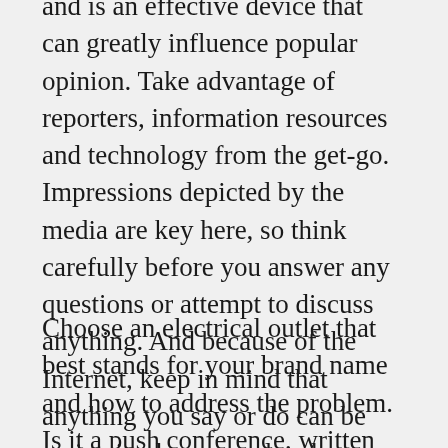and is an effective device that can greatly influence popular opinion. Take advantage of reporters, information resources and technology from the get-go. Impressions depicted by the media are key here, so think carefully before you answer any questions or attempt to discuss anything. And because of the Internet, keep in mind that anything you say or do can be maintained on record and noticeable to the general public for several years to find.
Choose an electrical outlet that best stands for your brand name and how to address the problem. Is it a push conference, written and/or spoken declarations, social media or various